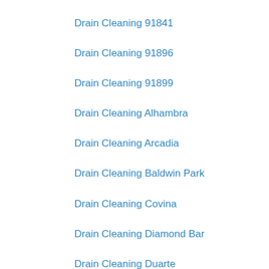Drain Cleaning 91841
Drain Cleaning 91896
Drain Cleaning 91899
Drain Cleaning Alhambra
Drain Cleaning Arcadia
Drain Cleaning Baldwin Park
Drain Cleaning Covina
Drain Cleaning Diamond Bar
Drain Cleaning Duarte
Drain Cleaning El Monte